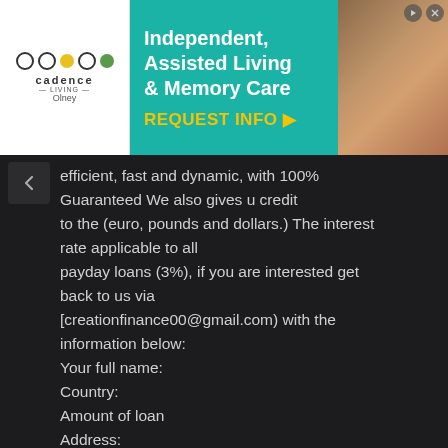[Figure (infographic): Advertisement banner for Cadence Living (Olney) – Independent, Assisted Living & Memory Care with a teal background and photo of elderly people]
efficient, fast and dynamic, with 100% Guaranteed We also gives u credit to the (euro, pounds and dollars.) The interest rate applicable to all payday loans (3%), if you are interested get back to us via [creationfinance00@gmail.com) with the information below:
Your full name:
Country:
Amount of loan
Address:
Duration:
Age:
Sex:
Occupation:
Phone number:
Thanks.
I await your urgent response.
7 July 2015 at 18:39